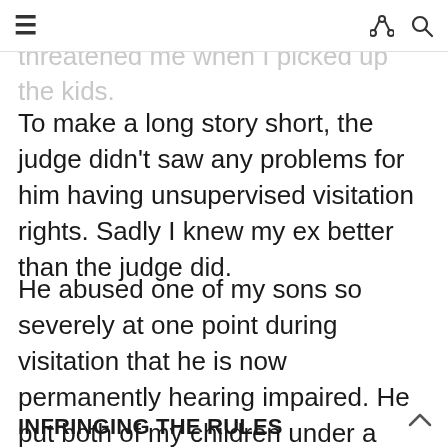≡  share  search
me be alone with him and he threatened me when I picked up the kids. To make a long story short, the judge didn't saw any problems for him having unsupervised visitation rights. Sadly I knew my ex better than the judge did.
He abused one of my sons so severely at one point during visitation that he is now permanently hearing impaired. He put both of my children under a cold shower, cut in the pink part of the nails of their fingers and toes (nail bed) and forced them to eat foods that they weren't allowed to eat because of their premature birth.
INFRINGING THE RULES